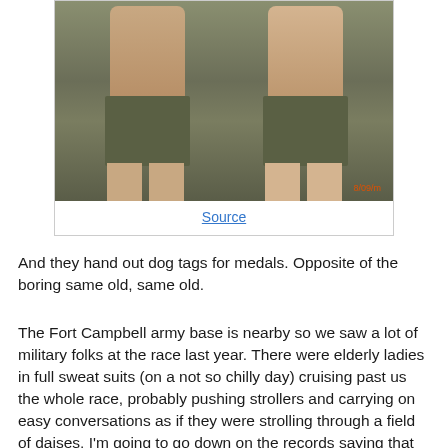[Figure (photo): Two muscular men wearing olive green military-style shorts, standing shirtless, photographed from chest down. Photo has a timestamp watermark in red/orange at bottom right.]
Source
And they hand out dog tags for medals. Opposite of the boring same old, same old.
The Fort Campbell army base is nearby so we saw a lot of military folks at the race last year. There were elderly ladies in full sweat suits (on a not so chilly day) cruising past us the whole race, probably pushing strollers and carrying on easy conversations as if they were strolling through a field of daises. I'm going to go down on the records saying that people in the military kick giant butt at any age. Seriously, I